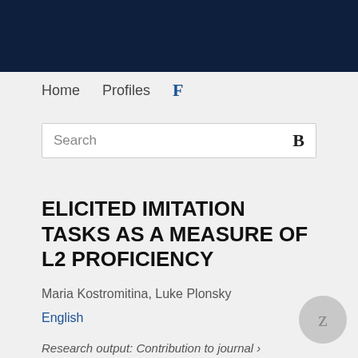Home   Profiles   F
Search
ELICITED IMITATION TASKS AS A MEASURE OF L2 PROFICIENCY
Maria Kostromitina, Luke Plonsky
English
Research output: Contribution to journal › Article › peer-review